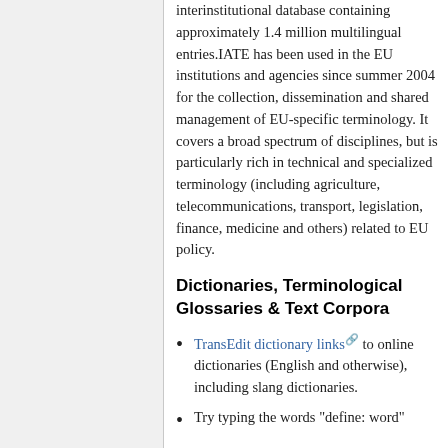interinstitutional database containing approximately 1.4 million multilingual entries.IATE has been used in the EU institutions and agencies since summer 2004 for the collection, dissemination and shared management of EU-specific terminology. It covers a broad spectrum of disciplines, but is particularly rich in technical and specialized terminology (including agriculture, telecommunications, transport, legislation, finance, medicine and others) related to EU policy.
Dictionaries, Terminological Glossaries & Text Corpora
TransEdit dictionary links to online dictionaries (English and otherwise), including slang dictionaries.
Try typing the words "define: word"